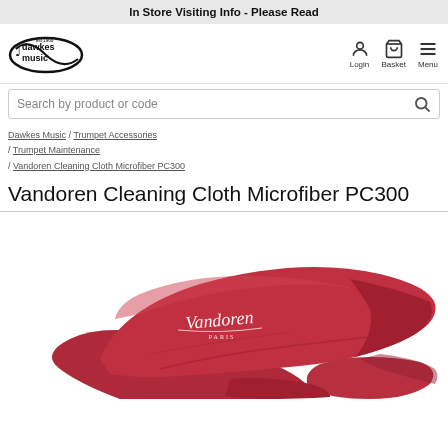In Store Visiting Info - Please Read
[Figure (logo): Dawkes Music logo - black text with musical note, 'est 1966']
Login  Basket  Menu
Search by product or code
Dawkes Music / Trumpet Accessories / Trumpet Maintenance / Vandoren Cleaning Cloth Microfiber PC300
Vandoren Cleaning Cloth Microfiber PC300
[Figure (photo): Red Vandoren microfiber cleaning cloth folded, showing Vandoren Paris branding in white script]